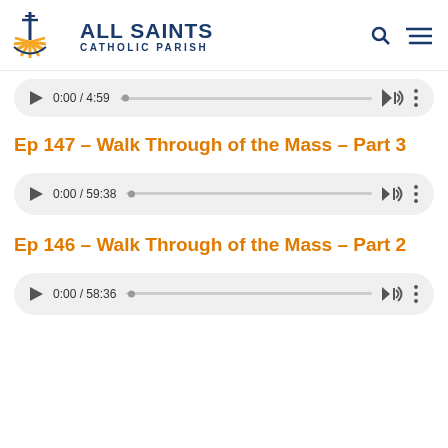[Figure (logo): All Saints Catholic Parish logo with sunburst cross icon]
[Figure (screenshot): Audio player showing 0:00 / 4:59 progress bar at top of page]
Ep 147 – Walk Through of the Mass – Part 3
[Figure (screenshot): Audio player showing 0:00 / 59:38]
Ep 146 – Walk Through of the Mass – Part 2
[Figure (screenshot): Audio player showing 0:00 / 58:36]